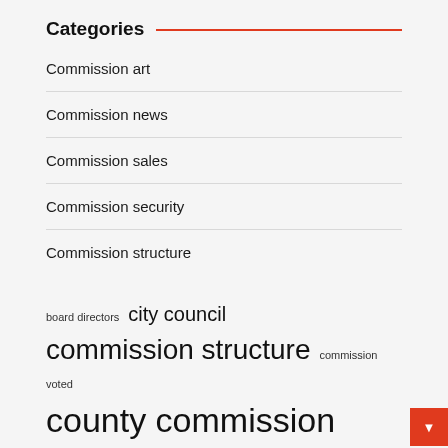Categories
Commission art
Commission news
Commission sales
Commission security
Commission structure
board directors  city council  commission structure  commission voted  county commission